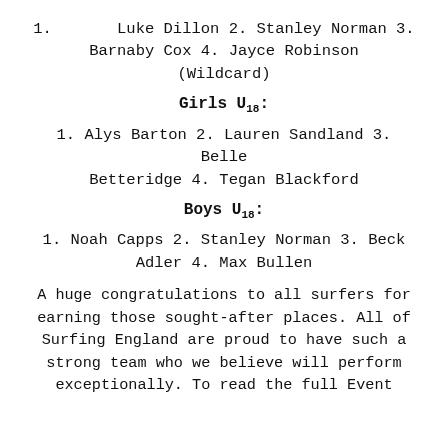1. Luke Dillon 2. Stanley Norman 3. Barnaby Cox 4. Jayce Robinson (Wildcard)
Girls U18:
1. Alys Barton 2. Lauren Sandland 3. Belle Betteridge 4. Tegan Blackford
Boys U18:
1. Noah Capps 2. Stanley Norman 3. Beck Adler 4. Max Bullen
A huge congratulations to all surfers for earning those sought-after places. All of Surfing England are proud to have such a strong team who we believe will perform exceptionally. To read the full Event